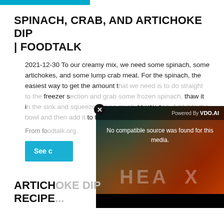SPINACH, CRAB, AND ARTICHOKE DIP | FOODTALK
2021-12-30 To our creamy mix, we need some spinach, some artichokes, and some lump crab meat. For the spinach, the easiest way to get the amount that we need is to do straight to the freezer section and grab some frozen spinach, thaw it in the sink and squeeze out as much water as you can. Add it to the bowl and then add it to the bowl
From fo...
See c...
[Figure (screenshot): Video player overlay showing 'No compatible source was found for this media.' with HEA X branding, dark teal and orange gradient background, Powered By VDO.AI header]
ARTICH... RECIPE...